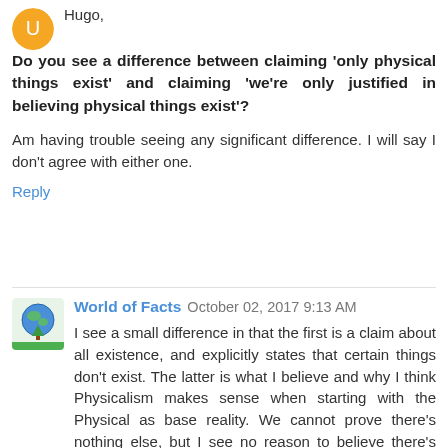Hugo,
Do you see a difference between claiming 'only physical things exist' and claiming 'we're only justified in believing physical things exist'?
Am having trouble seeing any significant difference. I will say I don't agree with either one.
Reply
World of Facts  October 02, 2017 9:13 AM
I see a small difference in that the first is a claim about all existence, and explicitly states that certain things don't exist. The latter is what I believe and why I think Physicalism makes sense when starting with the Physical as base reality. We cannot prove there's nothing else, but I see no reason to believe there's something else.
So what about feeling happy, consciousness, rules of chess, and the number 3? They exist because the physical